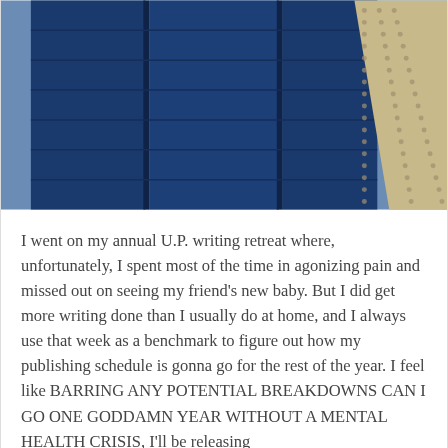[Figure (photo): Photograph of blue metal panel facade of a building, with riveted metal panels visible on the right side at an angle against a blue sky.]
I went on my annual U.P. writing retreat where, unfortunately, I spent most of the time in agonizing pain and missed out on seeing my friend's new baby. But I did get more writing done than I usually do at home, and I always use that week as a benchmark to figure out how my publishing schedule is gonna go for the rest of the year. I feel like BARRING ANY POTENTIAL BREAKDOWNS CAN I GO ONE GODDAMN YEAR WITHOUT A MENTAL HEALTH CRISIS, I'll be releasing